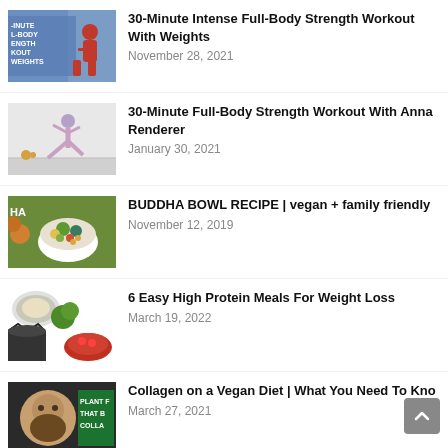30-Minute Intense Full-Body Strength Workout With Weights
November 28, 2021
30-Minute Full-Body Strength Workout With Anna Renderer
January 30, 2021
BUDDHA BOWL RECIPE | vegan + family friendly
November 12, 2019
6 Easy High Protein Meals For Weight Loss
March 19, 2022
Collagen on a Vegan Diet | What You Need To Know
March 27, 2021